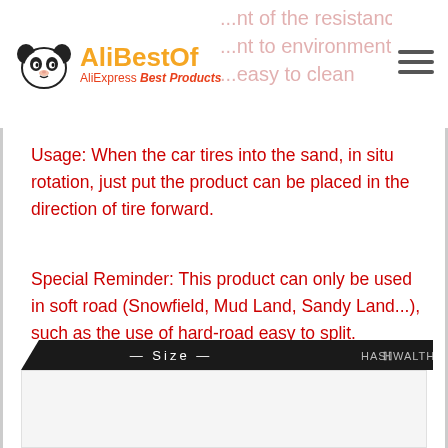AliBestOf - AliExpress Best Products
Usage: When the car tires into the sand, in situ rotation, just put the product can be placed in the direction of tire forward.
Special Reminder: This product can only be used in soft road (Snowfield, Mud Land, Sandy Land...), such as the use of hard-road easy to split.
[Figure (other): Size banner with HASHWALTH brand logo, dark background with diagonal cut on left side]